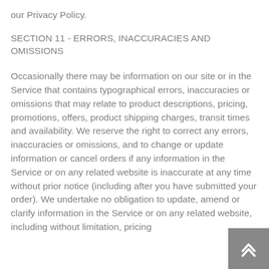our Privacy Policy.
SECTION 11 - ERRORS, INACCURACIES AND OMISSIONS
Occasionally there may be information on our site or in the Service that contains typographical errors, inaccuracies or omissions that may relate to product descriptions, pricing, promotions, offers, product shipping charges, transit times and availability. We reserve the right to correct any errors, inaccuracies or omissions, and to change or update information or cancel orders if any information in the Service or on any related website is inaccurate at any time without prior notice (including after you have submitted your order). We undertake no obligation to update, amend or clarify information in the Service or on any related website, including without limitation, pricing